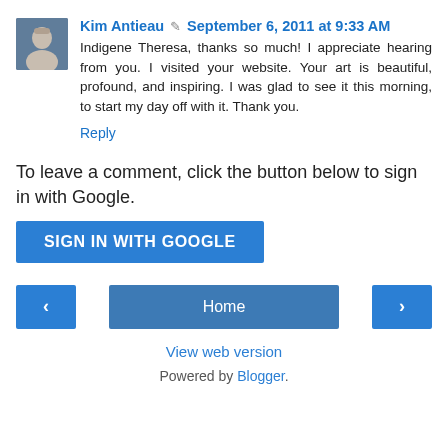Kim Antieau  September 6, 2011 at 9:33 AM
Indigene Theresa, thanks so much! I appreciate hearing from you. I visited your website. Your art is beautiful, profound, and inspiring. I was glad to see it this morning, to start my day off with it. Thank you.
Reply
To leave a comment, click the button below to sign in with Google.
[Figure (other): SIGN IN WITH GOOGLE button]
[Figure (other): Navigation row with left arrow, Home button, and right arrow]
View web version
Powered by Blogger.